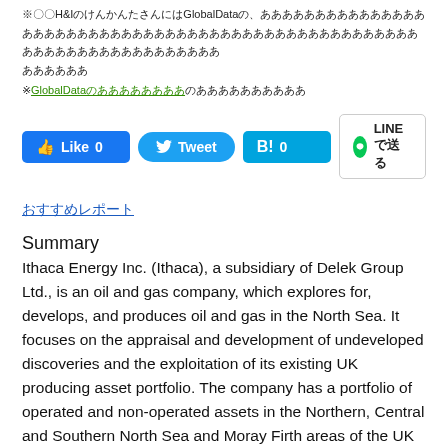※〇〇H&Iのxxxxxxxxxxxxxxxxx GlobalDataのxxxxxxxxxxxxxxxxxxxxxxxxxxxxxxxxxxxxxxxxxxxxxxxxxxxxxxxxxxxxxxxxxxxxxxxxxxxxxxxxxxxxxxxx〇〇〇〇〇〇
※GlobalDataの〇〇〇〇〇〇〇〇のxxxxxxxxxxxxxxxxxx
Social share buttons: Like 0, Tweet, B! 0, LINEで送る
〇〇〇〇〇〇〇〇〇
Summary
Ithaca Energy Inc. (Ithaca), a subsidiary of Delek Group Ltd., is an oil and gas company, which explores for, develops, and produces oil and gas in the North Sea. It focuses on the appraisal and development of undeveloped discoveries and the exploitation of its existing UK producing asset portfolio. The company has a portfolio of operated and non-operated assets in the Northern, Central and Southern North Sea and Moray Firth areas of the UK Continental Shelf. Ithaca also has stake in the Wytch Farm Field in Southern England. The company also operates in the Greater Stella Area in the